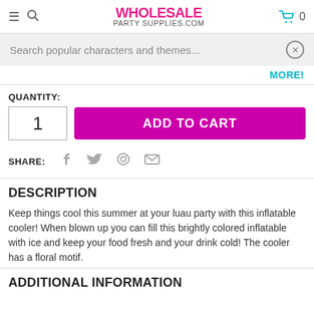WHOLESALE PARTY SUPPLIES.COM
Search popular characters and themes...
MORE!
QUANTITY:
1
ADD TO CART
SHARE:
DESCRIPTION
Keep things cool this summer at your luau party with this inflatable cooler! When blown up you can fill this brightly colored inflatable with ice and keep your food fresh and your drink cold! The cooler has a floral motif.
ADDITIONAL INFORMATION